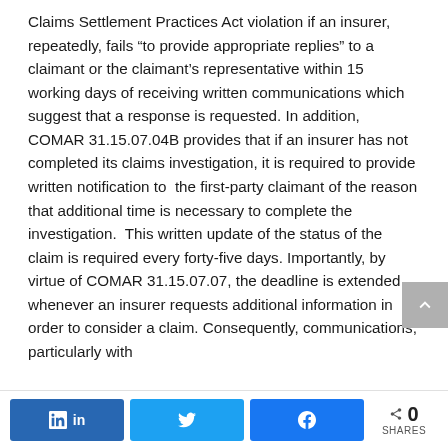Claims Settlement Practices Act violation if an insurer, repeatedly, fails “to provide appropriate replies” to a claimant or the claimant’s representative within 15 working days of receiving written communications which suggest that a response is requested. In addition, COMAR 31.15.07.04B provides that if an insurer has not completed its claims investigation, it is required to provide written notification to the first-party claimant of the reason that additional time is necessary to complete the investigation. This written update of the status of the claim is required every forty-five days. Importantly, by virtue of COMAR 31.15.07.07, the deadline is extended whenever an insurer requests additional information in order to consider a claim. Consequently, communications, particularly with